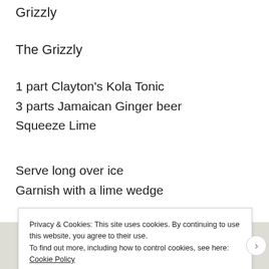Grizzly
The Grizzly
1 part Clayton's Kola Tonic
3 parts Jamaican Ginger beer
Squeeze Lime
Serve long over ice
Garnish with a lime wedge
[Figure (photo): Top-down view of a glass containing a green-tinted drink, partially visible at the bottom of the page]
Privacy & Cookies: This site uses cookies. By continuing to use this website, you agree to their use.
To find out more, including how to control cookies, see here: Cookie Policy
Close and accept